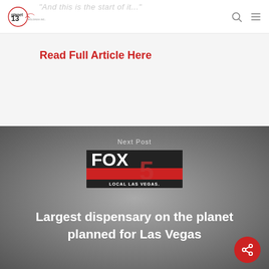[Figure (logo): Planet 13 Holdings Inc. logo in navigation bar]
"And this is the start of it..."
Read Full Article Here
[Figure (screenshot): Fox 5 Local Las Vegas logo overlaid on gray background with Next Post section showing headline: Largest dispensary on the planet planned for Las Vegas.]
Next Post
Largest dispensary on the planet planned for Las Vegas